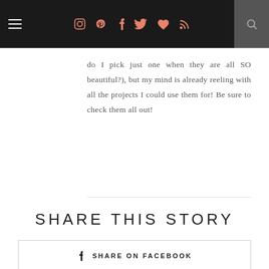Navigation bar with hamburger menu, social icons (Instagram, Pinterest, Facebook, Twitter, heart, RSS), and search
do I pick just one when they are all SO beautiful?), but my mind is already reeling with all the projects I could use them for! Be sure to check them all out!
SHARE THIS STORY
SHARE ON FACEBOOK
SHARE ON TWITTER
PIN THIS POST